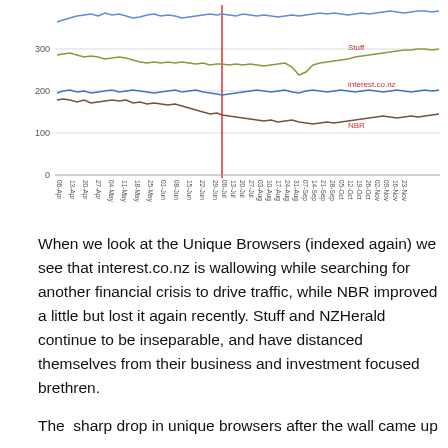[Figure (continuous-plot): Line chart showing Unique Browsers indexed over time from April to November, with lines for NZHerald (blue, top ~350-400), Stuff (olive/green, ~300-320), interest.co.nz (blue, ~190-210), and NBR (dark red, ~150-190). A vertical red line marks 20-Jul. Y-axis shows 0, 100, 200, 300. X-axis shows weekly dates from 06-Apr to 23-Nov.]
When we look at the Unique Browsers (indexed again) we see that interest.co.nz is wallowing while searching for another financial crisis to drive traffic, while NBR improved a little but lost it again recently. Stuff and NZHerald continue to be inseparable, and have distanced themselves from their business and investment focused brethren.
The  sharp drop in unique browsers after the wall came up